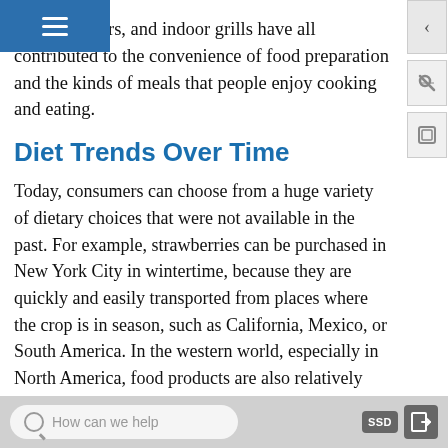es, deep fryers, and indoor grills have all contributed to the convenience of food preparation and the kinds of meals that people enjoy cooking and eating.
Diet Trends Over Time
Today, consumers can choose from a huge variety of dietary choices that were not available in the past. For example, strawberries can be purchased in New York City in wintertime, because they are quickly and easily transported from places where the crop is in season, such as California, Mexico, or South America. In the western world, especially in North America, food products are also relatively cheap. As a result, there is much less disparity between the diets of the lower and